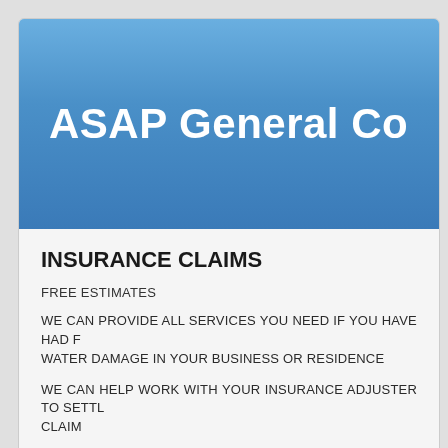[Figure (logo): Blue gradient banner with white bold text reading 'ASAP General Co' (partially visible, cropped at right edge)]
INSURANCE CLAIMS
FREE ESTIMATES
WE CAN PROVIDE ALL SERVICES YOU NEED IF YOU HAVE HAD FIRE OR WATER DAMAGE IN YOUR BUSINESS OR RESIDENCE
WE CAN HELP WORK WITH YOUR INSURANCE ADJUSTER TO SETTLE YOUR CLAIM
PLEASE CALL FOR A FREE ESTIMATE
Jacksonville    Duval County    904-346-1266